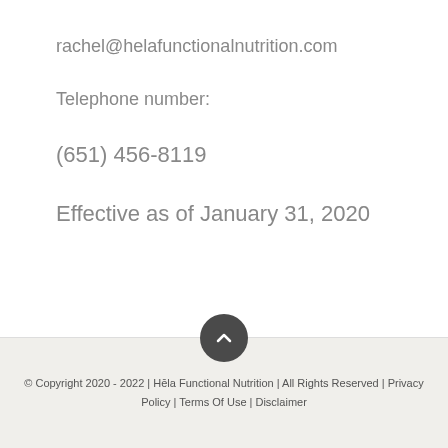rachel@helafunctionalnutrition.com
Telephone number:
(651) 456-8119
Effective as of January 31, 2020
© Copyright 2020 - 2022 | Hēla Functional Nutrition | All Rights Reserved | Privacy Policy | Terms Of Use | Disclaimer